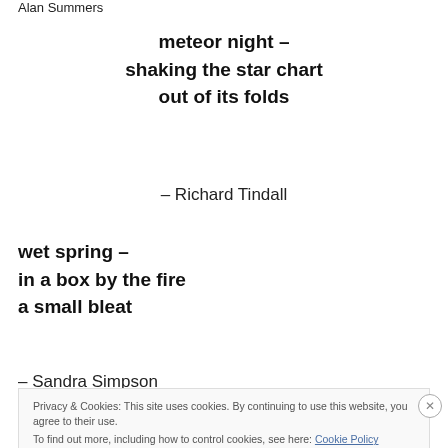Alan Summers
meteor night –
shaking the star chart
out of its folds
– Richard Tindall
wet spring –
in a box by the fire
a small bleat
– Sandra Simpson
Privacy & Cookies: This site uses cookies. By continuing to use this website, you agree to their use.
To find out more, including how to control cookies, see here: Cookie Policy